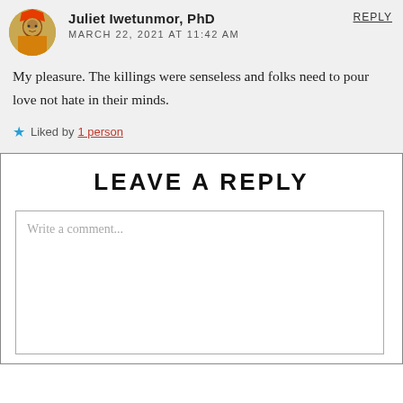Juliet Iwetunmor, PhD
MARCH 22, 2021 AT 11:42 AM
REPLY
My pleasure. The killings were senseless and folks need to pour love not hate in their minds.
Liked by 1 person
LEAVE A REPLY
Write a comment...